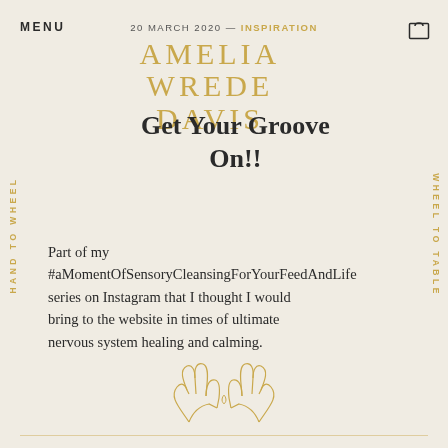MENU
20 MARCH 2020 — INSPIRATION
AMELIA WREDE DAVIS
Get Your Groove On!!
HAND TO WHEEL
WHEEL TO TABLE
Part of my #aMomentOfSensoryCleansingForYourFeedAndLife series on Instagram that I thought I would bring to the website in times of ultimate nervous system healing and calming.
[Figure (illustration): Line drawing of two hands touching at fingertips with a small heart, arranged symmetrically]